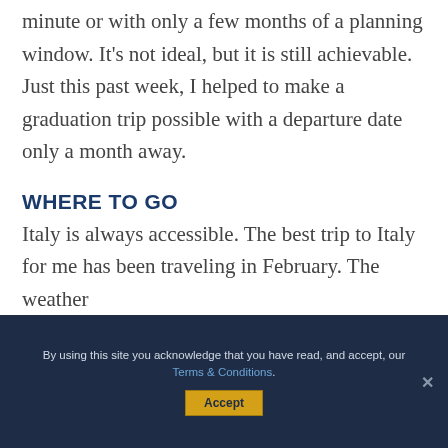minute or with only a few months of a planning window. It's not ideal, but it is still achievable. Just this past week, I helped to make a graduation trip possible with a departure date only a month away.
WHERE TO GO
Italy is always accessible. The best trip to Italy for me has been traveling in February. The weather
By using this site you acknowledge that you have read, and accept, our Terms & Conditions.
Accept